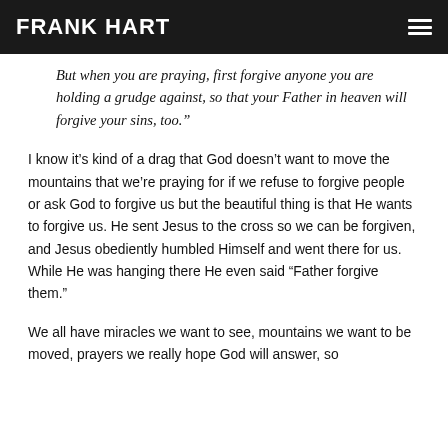FRANK HART
But when you are praying, first forgive anyone you are holding a grudge against, so that your Father in heaven will forgive your sins, too.”
I know it’s kind of a drag that God doesn’t want to move the mountains that we’re praying for if we refuse to forgive people or ask God to forgive us but the beautiful thing is that He wants to forgive us. He sent Jesus to the cross so we can be forgiven, and Jesus obediently humbled Himself and went there for us. While He was hanging there He even said “Father forgive them.”
We all have miracles we want to see, mountains we want to be moved, prayers we really hope God will answer, so